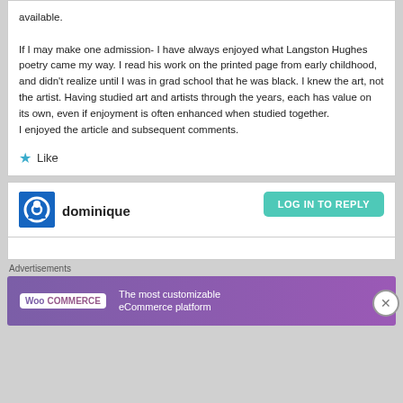available.
If I may make one admission- I have always enjoyed what Langston Hughes poetry came my way. I read his work on the printed page from early childhood, and didn't realize until I was in grad school that he was black. I knew the art, not the artist. Having studied art and artists through the years, each has value on its own, even if enjoyment is often enhanced when studied together.
I enjoyed the article and subsequent comments.
★ Like
dominique
LOG IN TO REPLY
Advertisements
[Figure (screenshot): WooCommerce advertisement banner: blue and purple gradient with WooCommerce logo and text 'The most customizable eCommerce platform']